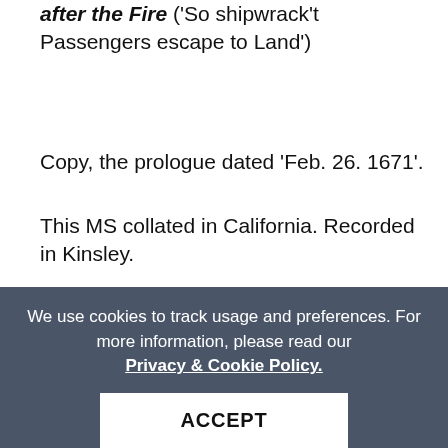after the Fire ('So shipwrack't Passengers escape to Land')
Copy, the prologue dated 'Feb. 26. 1671'.
This MS collated in California. Recorded in Kinsley.
First published in Covent Garden Drolery (London, 1672). Westminster Drolery, The Second Part (London, 1672). Kinsley, I, 140. California, I, 143-4. Hammond, I, 256-7.
On his Incomparable, Incomprehensible Poem Called 'The Hind and the Panther' ('Come on, ye critics! Find one fault who dare')